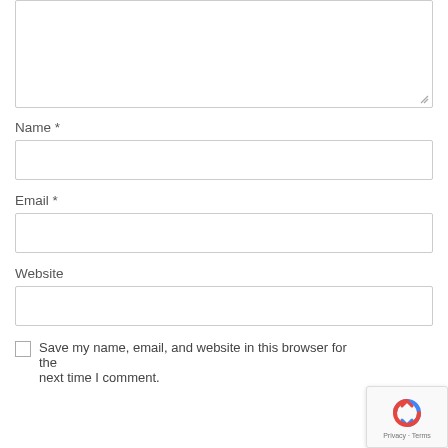[Figure (screenshot): Comment textarea input box, partially visible at top of page]
Name *
[Figure (screenshot): Name text input field]
Email *
[Figure (screenshot): Email text input field]
Website
[Figure (screenshot): Website text input field]
Save my name, email, and website in this browser for the next time I comment.
[Figure (logo): reCAPTCHA badge with Privacy and Terms links]